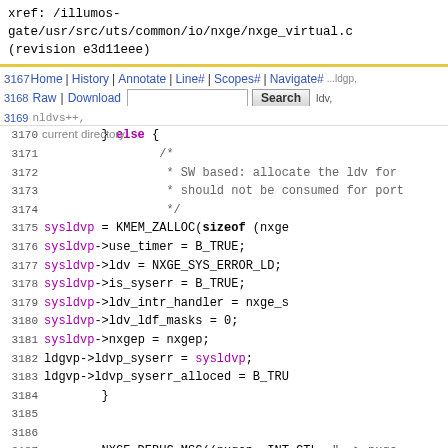xref: /illumos-gate/usr/src/uts/common/io/nxge/nxge_virtual.c (revision e3d11eee)
Home | History | Annotate | Line# | Scopes# | Navigate# | Raw | Download | Search | current directory
Code listing lines 3167-3191 of nxge_virtual.c showing C source code with line numbers